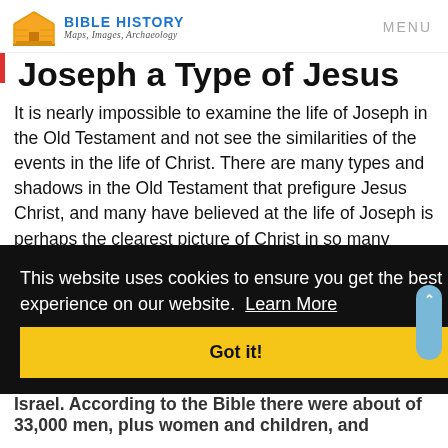BIBLE HISTORY Maps, Images, Archaeology | MENU
Joseph a Type of Jesus
It is nearly impossible to examine the life of Joseph in the Old Testament and not see the similarities of the events in the life of Christ. There are many types and shadows in the Old Testament that prefigure Jesus Christ, and many have believed at the life of Joseph is perhaps the clearest picture of Christ in so many ways.
This website uses cookies to ensure you get the best experience on our website.  Learn More
Got it!
Israel. According to the Bible there were about of 33,000 men, plus women and children, and